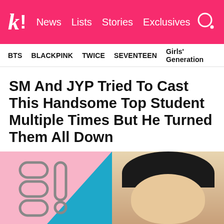k! News Lists Stories Exclusives
BTS BLACKPINK TWICE SEVENTEEN Girls' Generation
SM And JYP Tried To Cast This Handsome Top Student Multiple Times But He Turned Them All Down
He's got brains as well as beauty!
[Figure (photo): Left: SM Entertainment logo on pink and blue background. Right: Close-up of a young Korean man with bowl-cut black hair.]